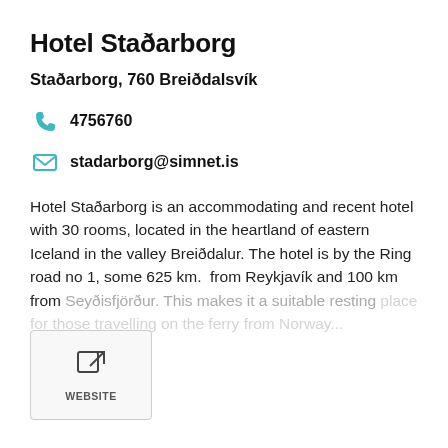Hotel Staðarborg
Staðarborg, 760 Breiðdalsvík
4756760
stadarborg@simnet.is
Hotel Staðarborg is an accommodating and recent hotel with 30 rooms, located in the heartland of eastern Iceland in the valley Breiðdalur. The hotel is by the Ring road no 1, some 625 km.  from Reykjavík and 100 km from Seyðisfjörður. This makes it a suitable resting place for those travelling on the ferry from Norway...
[Figure (other): Website link icon button with text WEBSITE below]